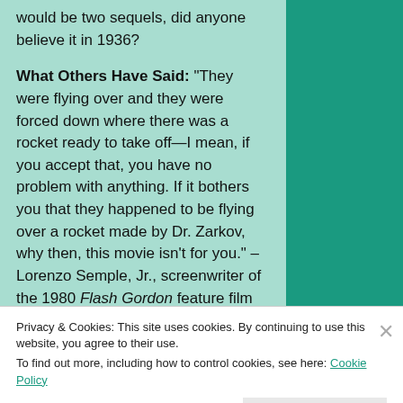would be two sequels, did anyone believe it in 1936?
What Others Have Said: "They were flying over and they were forced down where there was a rocket ready to take off—I mean, if you accept that, you have no problem with anything. If it bothers you that they happened to be flying over a rocket made by Dr. Zarkov, why then, this movie isn't for you." –Lorenzo Semple, Jr., screenwriter of the 1980 Flash Gordon feature film
What's next: In two weeks, join me again for a look at Robinson Crusoe of Clipper Island.
Privacy & Cookies: This site uses cookies. By continuing to use this website, you agree to their use. To find out more, including how to control cookies, see here: Cookie Policy
Close and accept